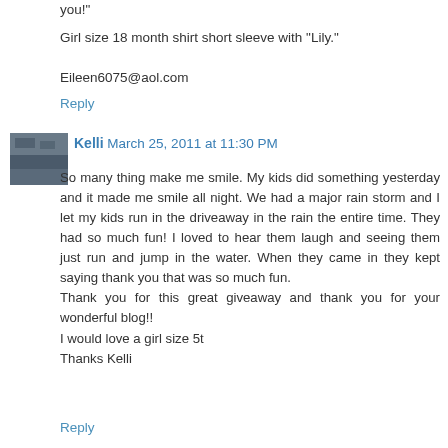you!"
Girl size 18 month shirt short sleeve with "Lily."
Eileen6075@aol.com
Reply
Kelli March 25, 2011 at 11:30 PM
So many thing make me smile. My kids did something yesterday and it made me smile all night. We had a major rain storm and I let my kids run in the driveaway in the rain the entire time. They had so much fun! I loved to hear them laugh and seeing them just run and jump in the water. When they came in they kept saying thank you that was so much fun.
Thank you for this great giveaway and thank you for your wonderful blog!!
I would love a girl size 5t
Thanks Kelli
Reply